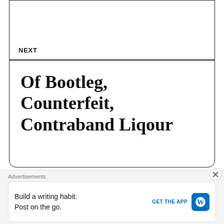NEXT
Of Bootleg, Counterfeit, Contraband Liqour
21 Comments
Advertisements
Build a writing habit. Post on the go.
GET THE APP